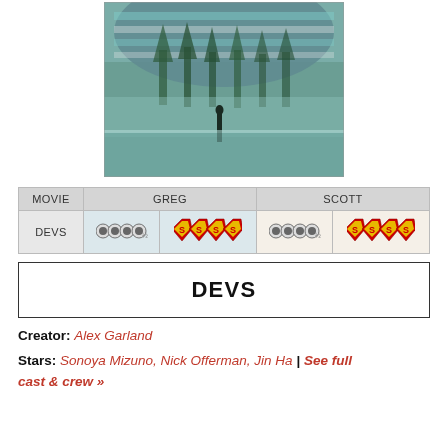[Figure (photo): Cinematic still from DEVS: a person stands on a reflective platform in front of a massive screen or glass wall showing a foggy forest scene with tall trees.]
| MOVIE | GREG | SCOTT |
| --- | --- | --- |
| DEVS | [audience score icons] [critic score icons] | [audience score icons] [critic score icons] |
DEVS
Creator: Alex Garland
Stars: Sonoya Mizuno, Nick Offerman, Jin Ha | See full cast & crew »